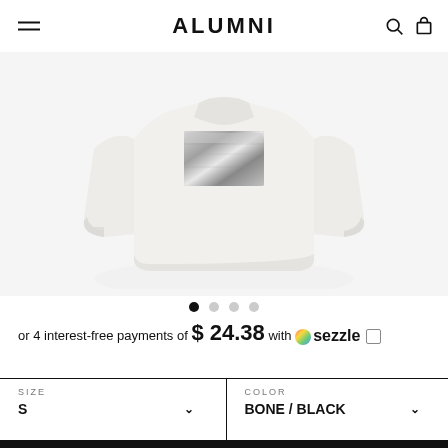ALUMNI
[Figure (photo): White crewneck sweatshirt with a silver/metallic rectangular graphic on the chest, displayed on a white background]
or 4 interest-free payments of $ 24.38 with Sezzle
| SIZE | COLOR |
| --- | --- |
| S | BONE / BLACK |